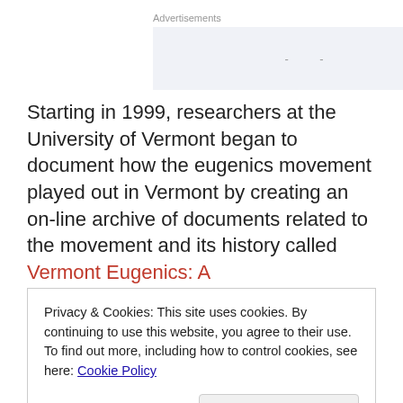Advertisements
Starting in 1999, researchers at the University of Vermont began to document how the eugenics movement played out in Vermont by creating an on-line archive of documents related to the movement and its history called Vermont Eugenics: A
Privacy & Cookies: This site uses cookies. By continuing to use this website, you agree to their use.
To find out more, including how to control cookies, see here: Cookie Policy
Close and accept
Painter's The History of White People, which I've